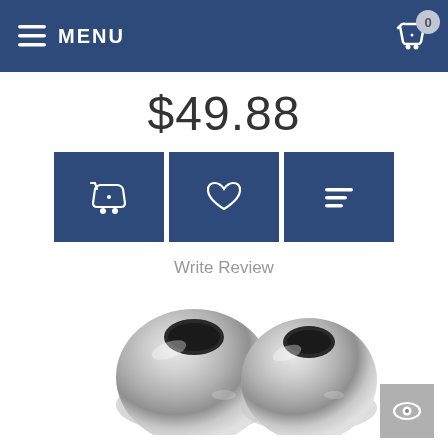MENU | Cart: 0
$49.88
[Figure (other): Three action buttons: basket/cart, heart/wishlist, and list/compare, displayed as white icons on dark blue square buttons]
Write Review
[Figure (photo): Two chrome/silver plumbing escutcheon rings or flanges, metallic finish, viewed from slight angle]
[Figure (other): Eye/preview icon button in a gray square at bottom right]